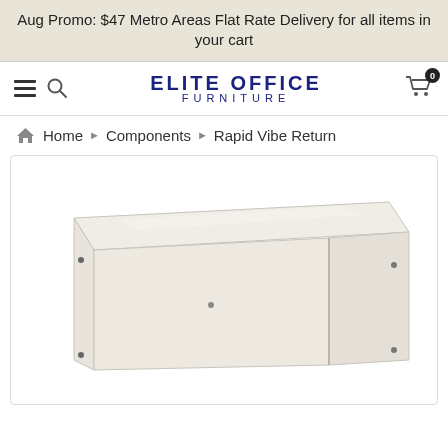Aug Promo: $47 Metro Areas Flat Rate Delivery for all items in your cart
[Figure (logo): Elite Office Furniture logo with hamburger menu, search icon, and cart icon with badge showing 0]
Home ▶ Components ▶ Rapid Vibe Return
[Figure (photo): White office desk return / component unit with rectangular top surface and two side panels forming a U-shape, shown on white background]